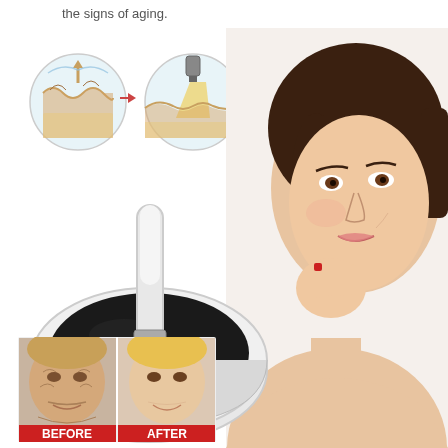the signs of aging.
[Figure (illustration): Three circular skin cross-section diagrams showing skin before treatment (wrinkled surface), during HIFU treatment (ultrasound beam penetrating skin layers), and after treatment (smoother skin with collagen stimulation), connected by arrows.]
[Figure (photo): White HIFU ultrasound beauty device with a round black base and handheld probe/wand with coiled cord.]
[Figure (photo): Portrait of a young woman with brown hair, glowing skin, smiling and resting her chin on her hand — anti-aging beauty device model.]
[Figure (photo): Before and after comparison photos of an older woman's face showing skin rejuvenation results. Left panel labeled BEFORE shows more wrinkles; right panel labeled AFTER shows smoother skin. Red labels at bottom read BEFORE and AFTER.]